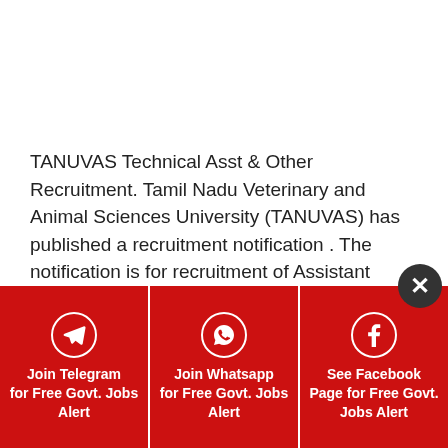TANUVAS Technical Asst & Other Recruitment. Tamil Nadu Veterinary and Animal Sciences University (TANUVAS) has published a recruitment notification . The notification is for recruitment of Assistant Engineer, Technical Assistant & Other. Here you will get the complete information
more
[Figure (infographic): Red banner with three columns: Join Telegram for Free Govt. Jobs Alert, Join Whatsapp for Free Govt. Jobs Alert, See Facebook Page for Free Govt. Jobs Alert. Each column has a circular icon. A dark circular close button (X) is at upper right.]